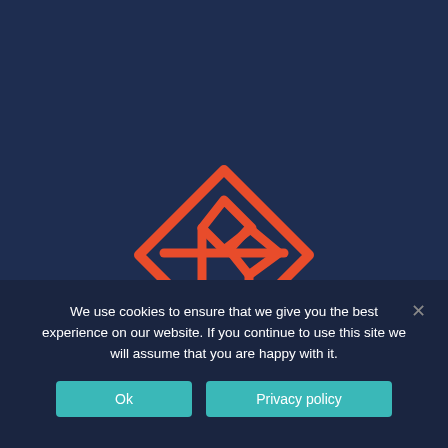[Figure (logo): Orange geometric diamond-shaped logo with interlocking angular shapes forming letters on a dark navy background]
We use cookies to ensure that we give you the best experience on our website. If you continue to use this site we will assume that you are happy with it.
Ok
Privacy policy